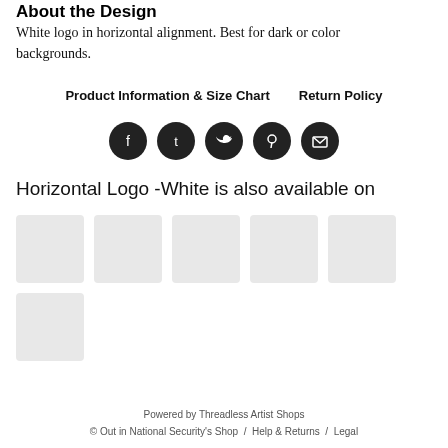About the Design
White logo in horizontal alignment. Best for dark or color backgrounds.
Product Information & Size Chart     Return Policy
[Figure (infographic): Row of five dark circular social media icons: Facebook, Tumblr, Twitter, Pinterest, Email]
Horizontal Logo -White is also available on
[Figure (other): Six light gray product thumbnail placeholder boxes]
Powered by Threadless Artist Shops
© Out in National Security's Shop  /  Help & Returns  /  Legal